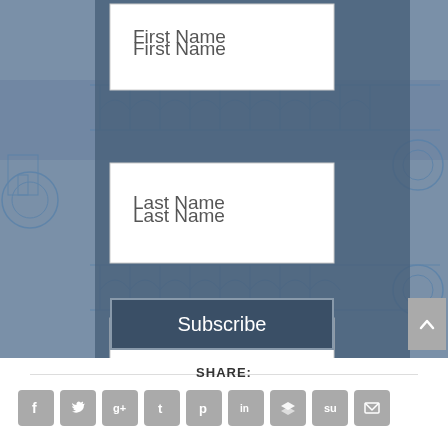[Figure (screenshot): Web form on engineering blueprint background with fields for First Name, Last Name, Email Address, and a Subscribe button]
First Name
Last Name
Email Address
Subscribe
SHARE:
[Figure (infographic): Row of social media sharing icons: Facebook, Twitter, Google+, Tumblr, Pinterest, LinkedIn, Buffer, StumbleUpon, Email]